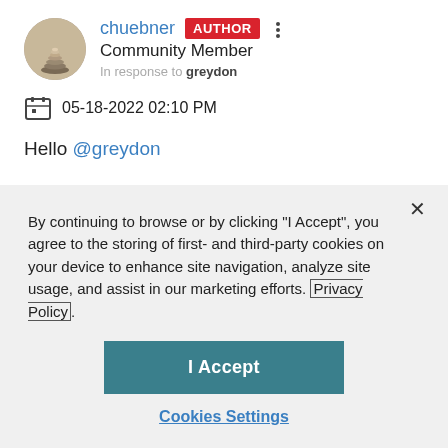chuebner AUTHOR Community Member In response to greydon
05-18-2022 02:10 PM
Hello @greydon
By continuing to browse or by clicking "I Accept", you agree to the storing of first- and third-party cookies on your device to enhance site navigation, analyze site usage, and assist in our marketing efforts. Privacy Policy
I Accept
Cookies Settings